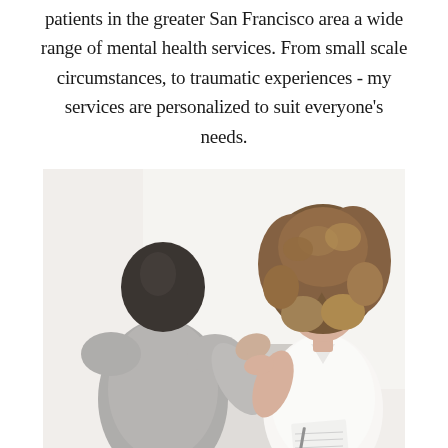patients in the greater San Francisco area a wide range of mental health services. From small scale circumstances, to traumatic experiences - my services are personalized to suit everyone's needs.
[Figure (photo): Two women in a therapy session. On the right, a therapist with curly hair wearing a white shirt, smiling and gesturing with her hand while holding a notepad. On the left, a patient with dark straight hair seen from behind, wearing a grey top. The setting is a bright, white interior.]